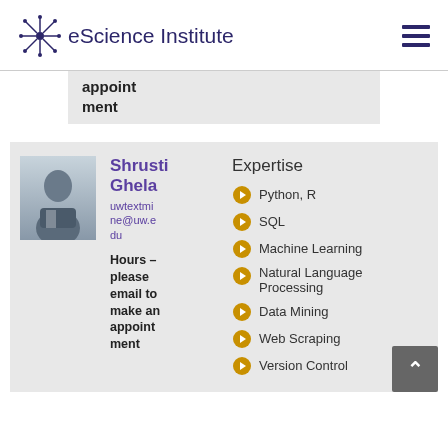eScience Institute
appointment
[Figure (photo): Profile photo of Shrusti Ghela]
Shrusti Ghela
uwtextmine@uw.edu
Hours – please email to make an appointment
Expertise
Python, R
SQL
Machine Learning
Natural Language Processing
Data Mining
Web Scraping
Version Control